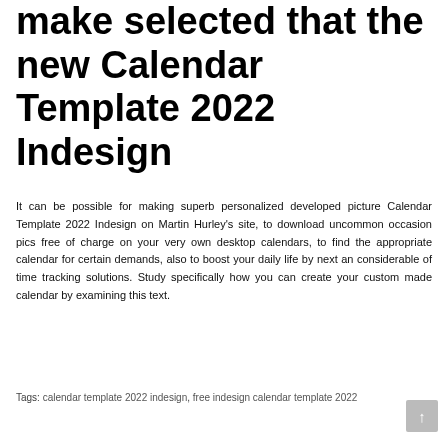make selected that the new Calendar Template 2022 Indesign
It can be possible for making superb personalized developed picture Calendar Template 2022 Indesign on Martin Hurley's site, to download uncommon occasion pics free of charge on your very own desktop calendars, to find the appropriate calendar for certain demands, also to boost your daily life by next an considerable of time tracking solutions. Study specifically how you can create your custom made calendar by examining this text.
Tags: calendar template 2022 indesign, free indesign calendar template 2022